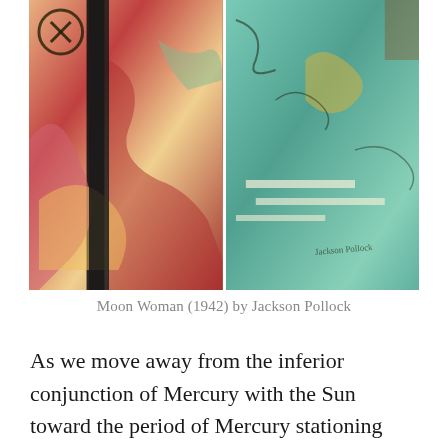[Figure (illustration): A painting showing two panels side by side: left panel is an abstract expressionist work with reds, pinks, yellows, and blacks; right panel shows teal/green tones with gestural marks. This is Moon Woman (1942) by Jackson Pollock.]
Moon Woman (1942) by Jackson Pollock
As we move away from the inferior conjunction of Mercury with the Sun toward the period of Mercury stationing direct, Venus gets closer each day to Mars in Pisces making the clearing of previous relationship patterns deeper.  This is a great couple of weeks to claim as a severing of what no longer serves us in our previous patterns of relating to others as well as our self.  Yet clearing does not mean